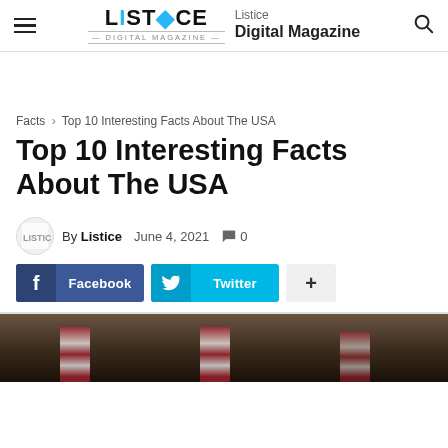Listice Digital Magazine
Facts › Top 10 Interesting Facts About The USA
Top 10 Interesting Facts About The USA
By Listice   June 4, 2021   0
[Figure (screenshot): Social sharing buttons: Facebook, Twitter, and a + more button]
[Figure (photo): Partial photo of American flags in background]